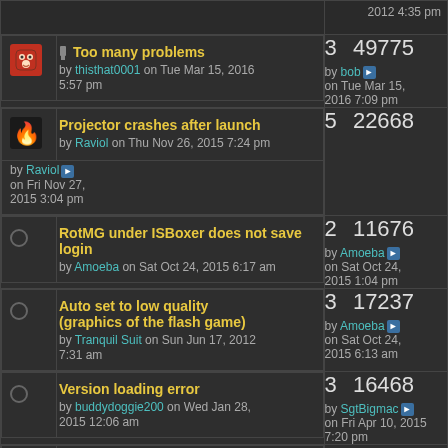2012 4:35 pm
Too many problems by thisthat0001 on Tue Mar 15, 2016 5:57 pm | 3 replies 49775 views | by bob on Tue Mar 15, 2016 7:09 pm
Projector crashes after launch by Raviol on Thu Nov 26, 2015 7:24 pm | 5 replies 22668 views | by Raviol on Fri Nov 27, 2015 3:04 pm
RotMG under ISBoxer does not save login by Amoeba on Sat Oct 24, 2015 6:17 am | 2 replies 11676 views | by Amoeba on Sat Oct 24, 2015 1:04 pm
Auto set to low quality (graphics of the flash game) by Tranquil Suit on Sun Jun 17, 2012 7:31 am | 3 replies 17237 views | by Amoeba on Sat Oct 24, 2015 6:13 am
Version loading error by buddydoggie200 on Wed Jan 28, 2015 12:06 am | 3 replies 16468 views | by SgtBigmac on Fri Apr 10, 2015 7:20 pm
Old flash needed?